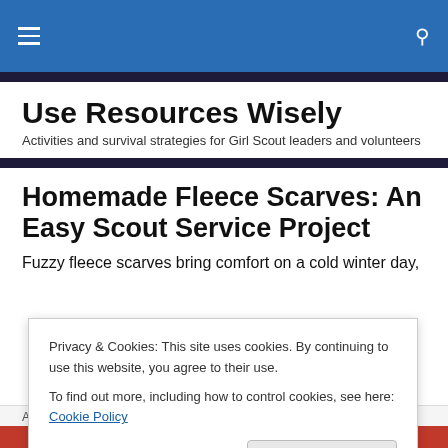Use Resources Wisely — site navigation bar
Use Resources Wisely
Activities and survival strategies for Girl Scout leaders and volunteers
Homemade Fleece Scarves: An Easy Scout Service Project
Fuzzy fleece scarves bring comfort on a cold winter day,
Privacy & Cookies: This site uses cookies. By continuing to use this website, you agree to their use.
To find out more, including how to control cookies, see here: Cookie Policy
Close and accept
Advertisements